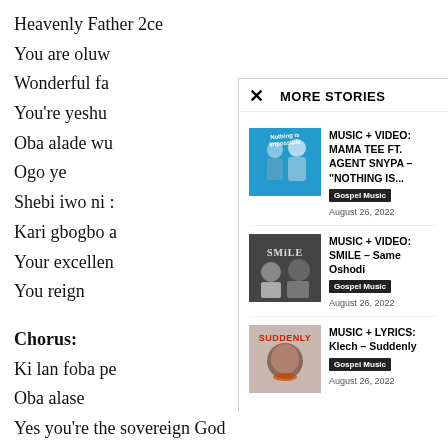Heavenly Father 2ce
You are oluw…
Wonderful fa…
You're yeshu…
Oba alade wu…
Ogo ye
Shebi iwo ni …
Kari gbogbo a…
Your excellen…
You reign
Chorus:
Ki lan foba pe…
Oba alase
Yes you're the sovereign God
MORE STORIES
MUSIC + VIDEO: MAMA TEE FT. AGENT SNYPA – "NOTHING IS...
Gospel Music  August 26, 2022
MUSIC + VIDEO: SMILE – Same Oshodi
Gospel Music  August 26, 2022
MUSIC + LYRICS: Klech – Suddenly
Gospel Music  August 26, 2022